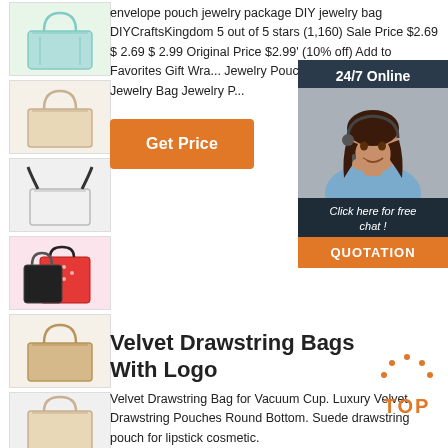[Figure (photo): Product thumbnail: light green/mint canvas tote bag]
[Figure (photo): Product thumbnail: beige canvas tote bag with handles]
[Figure (photo): Product thumbnail: white shoulder bag with black straps]
[Figure (photo): Product thumbnail: red and black polka-dot fabric bags]
[Figure (photo): Product thumbnail: tan/natural canvas tote bag]
[Figure (photo): Product thumbnail: beige canvas bag with handles]
envelope pouch jewelry package DIY jewelry bag DIYCraftsKingdom 5 out of 5 stars (1,160) Sale Price $2.69 $ 2.69 $ 2.99 Original Price $2.99' (10% off) Add to Favorites Gift Wra... Jewelry Pouch Jewelry Box S... Pouch Jewelry Bag Jewelry P...
[Figure (other): Get Price button - orange rectangle with white bold text]
[Figure (photo): 24/7 online chat overlay with female agent wearing headset, dark navy background, 'Click here for free chat!' text and QUOTATION button]
Velvet Drawstring Bags With Logo
[Figure (other): Orange TOP badge/seal with dots]
Velvet Drawstring Bag for Vacuum Cup. Luxury Velvet Drawstring Pouches Round Bottom. Suede drawstring pouch for lipstick cosmetic.